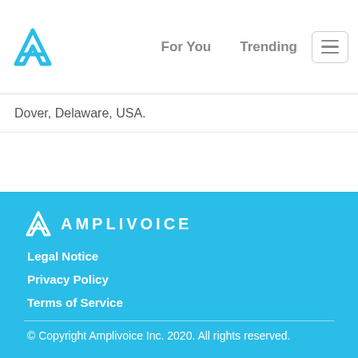Amplivoice logo | For You | Trending | Menu
Dover, Delaware, USA.
[Figure (logo): Amplivoice footer logo with wordmark AMPLIVOICE in white on blue background]
Legal Notice
Privacy Policy
Terms of Service
© Copyright Amplivoice Inc. 2020. All rights reserved.